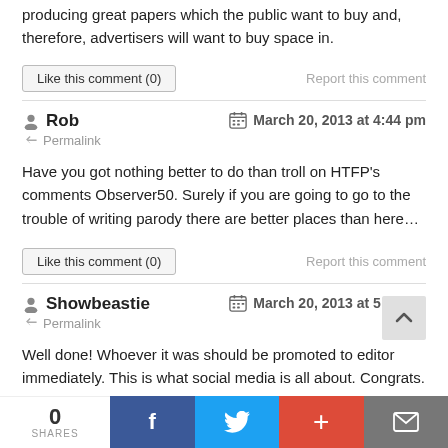producing great papers which the public want to buy and, therefore, advertisers will want to buy space in.
Like this comment (0)
Report this comment
Rob  March 20, 2013 at 4:44 pm
Permalink
Have you got nothing better to do than troll on HTFP's comments Observer50. Surely if you are going to go to the trouble of writing parody there are better places than here…
Like this comment (0)
Report this comment
Showbeastie  March 20, 2013 at 5:23 pm
Permalink
Well done! Whoever it was should be promoted to editor immediately. This is what social media is all about. Congrats.
0 SHARES